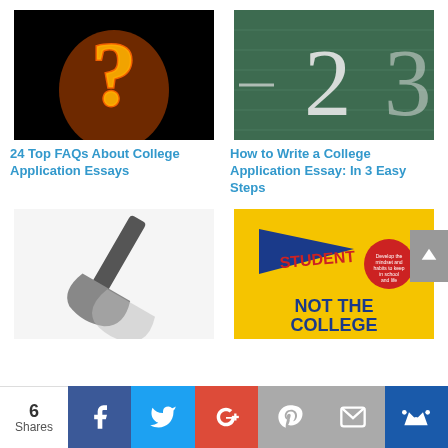[Figure (photo): Flaming question mark on black background]
[Figure (photo): Number 2 written in chalk on a green chalkboard]
24 Top FAQs About College Application Essays
How to Write a College Application Essay: In 3 Easy Steps
[Figure (illustration): Dark grey shovel icon on light grey background]
[Figure (photo): Book cover: Student Not The College - The Secrets of Succeeding at Any]
6 Shares